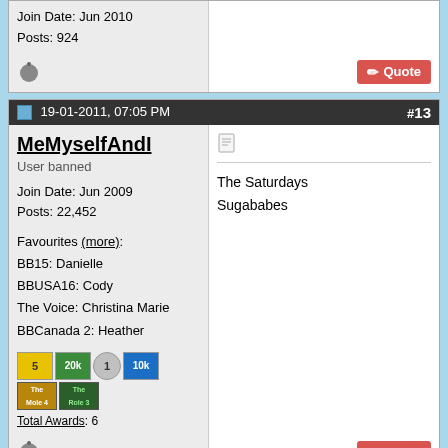Join Date: Jun 2010
Posts: 924
19-01-2011, 07:05 PM  #13
MeMyselfAndI
User banned
Join Date: Jun 2009
Posts: 22,452
Favourites (more):
BB15: Danielle
BBUSA16: Cody
The Voice: Christina Marie
BBCanada 2: Heather
Total Awards: 6
The Saturdays
Sugababes
19-01-2011, 07:09 PM  #14
Tom4784
Senior Member
Join Date: Jan 2007
Quote:
Originally Posted by